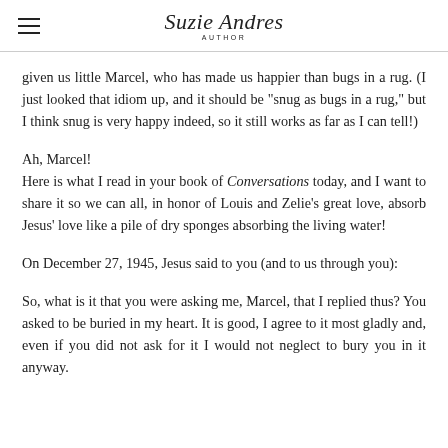Suzie Andres AUTHOR
given us little Marcel, who has made us happier than bugs in a rug. (I just looked that idiom up, and it should be "snug as bugs in a rug," but I think snug is very happy indeed, so it still works as far as I can tell!)
Ah, Marcel!
Here is what I read in your book of Conversations today, and I want to share it so we can all, in honor of Louis and Zelie's great love, absorb Jesus' love like a pile of dry sponges absorbing the living water!
On December 27, 1945, Jesus said to you (and to us through you):
So, what is it that you were asking me, Marcel, that I replied thus? You asked to be buried in my heart. It is good, I agree to it most gladly and, even if you did not ask for it I would not neglect to bury you in it anyway.